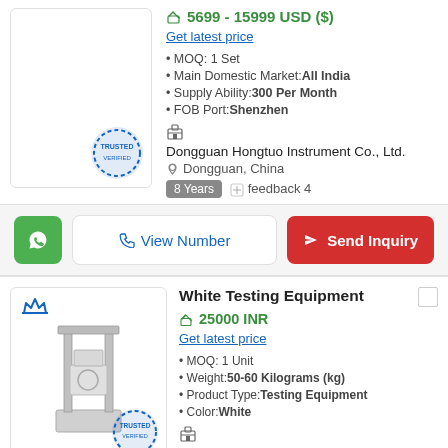5699 - 15999 USD ($)
Get latest price
MOQ: 1 Set
Main Domestic Market: All India
Supply Ability: 300 Per Month
FOB Port: Shenzhen
Dongguan Hongtuo Instrument Co., Ltd.
Dongguan, China
8 Years  feedback 4
View Number
Send Inquiry
White Testing Equipment
25000 INR
Get latest price
MOQ: 1 Unit
Weight: 50-60 Kilograms (kg)
Product Type: Testing Equipment
Color: White